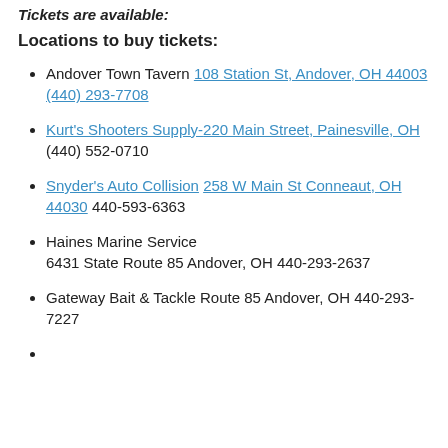Tickets are available:
Locations to buy tickets:
Andover Town Tavern 108 Station St, Andover, OH 44003 (440) 293-7708
Kurt's Shooters Supply- 220 Main Street, Painesville, OH (440) 552-0710
Snyder's Auto Collision 258 W Main St Conneaut, OH 44030 440-593-6363
Haines Marine Service 6431 State Route 85 Andover, OH 440-293-2637
Gateway Bait & Tackle Route 85 Andover, OH 440-293-7227